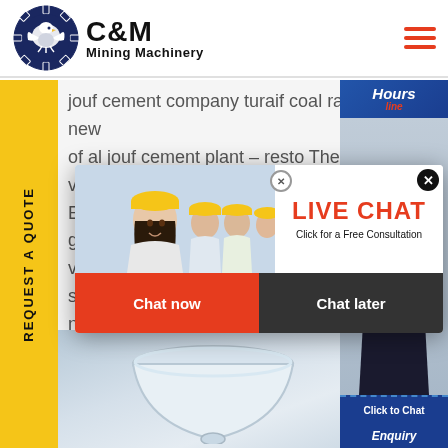[Figure (logo): C&M Mining Machinery logo with eagle in gear circle, dark navy blue]
C&M Mining Machinery
jouf cement company turaif coal raw mill at new of al jouf cement plant - resto The Project will vide ma Egyptian ght Al Jo vs raw m suppliers for sale india; selectio nent
[Figure (screenshot): Live Chat popup with workers in hard hats, LIVE CHAT heading in red, Click for a Free Consultation, Chat now (red) and Chat later (dark) buttons]
[Figure (screenshot): Right side chat widget showing Hours Online in blue banner, female customer service representative with headset, Click to Chat button, Enquiry text]
[Figure (photo): Bottom industrial machinery photo showing cement mixing bowl or funnel equipment]
REQUEST A QUOTE